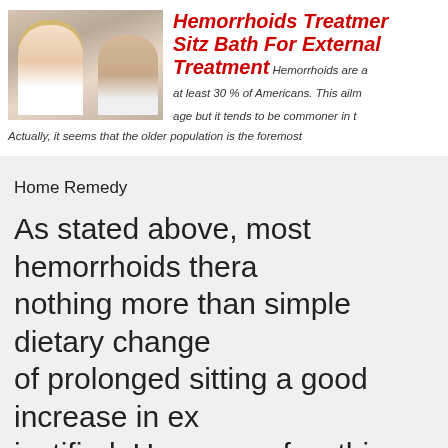[Figure (photo): Photo of a woman looking distressed, sitting in bed, with another person beside her]
Hemorrhoids Treatment Sitz Bath For External Treatment
Hemorrhoids are a at least 30 % of Americans. This ailment can affect people of all age but it tends to be commoner in the older population. Actually, it seems that the older population is the foremost
Home Remedy
As stated above, most hemorrhoids thera nothing more than simple dietary changes of prolonged sitting a good increase in ex justified. Here are a few things you shou are suffering with hemorrhoids: